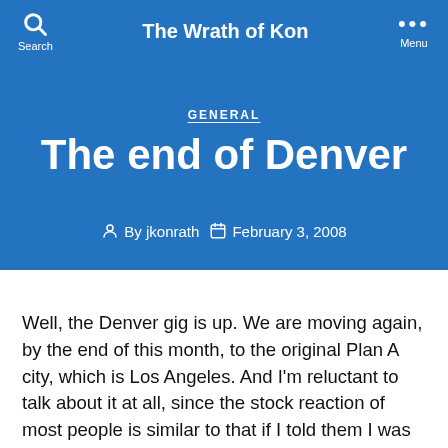The Wrath of Kon
GENERAL
The end of Denver
By jkonrath   February 3, 2008
Well, the Denver gig is up. We are moving again, by the end of this month, to the original Plan A city, which is Los Angeles. And I'm reluctant to talk about it at all, since the stock reaction of most people is similar to that if I told them I was building a machine in my back yard